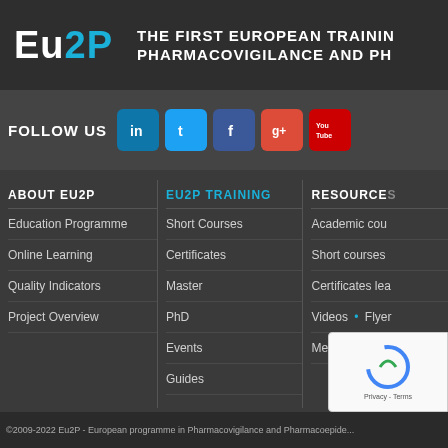[Figure (logo): Eu2P logo with blue 2 and P on dark background]
THE FIRST EUROPEAN TRAINING PHARMACOVIGILANCE AND PH
FOLLOW US
[Figure (infographic): Social media icons: LinkedIn, Twitter, Facebook, Google+, YouTube]
ABOUT Eu2P
Education Programme
Online Learning
Quality Indicators
Project Overview
Eu2P TRAINING
Short Courses
Certificates
Master
PhD
Events
Guides
RESOURCES
Academic cou
Short courses
Certificates lea
Videos • Flyer
Media Center
©2009-2022 Eu2P - European programme in Pharmacovigilance and Pharmacoepide...
[Figure (other): Google reCAPTCHA badge with Privacy - Terms text]